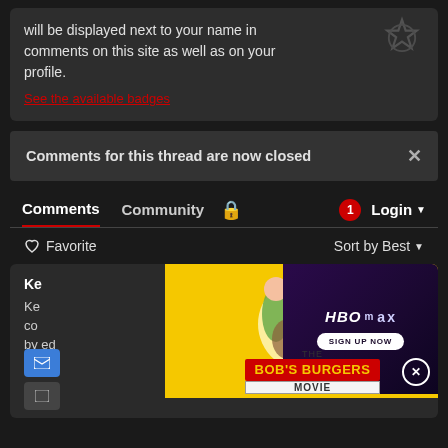will be displayed next to your name in comments on this site as well as on your profile.
See the available badges
Comments for this thread are now closed
Comments  Community  🔒  1  Login
♡ Favorite  Sort by Best
Ke...
Ke... co... by... ed e.
[Figure (screenshot): Bob's Burgers Movie advertisement with animated characters on yellow background]
[Figure (screenshot): HBO Max Sign Up Now advertisement on dark purple background]